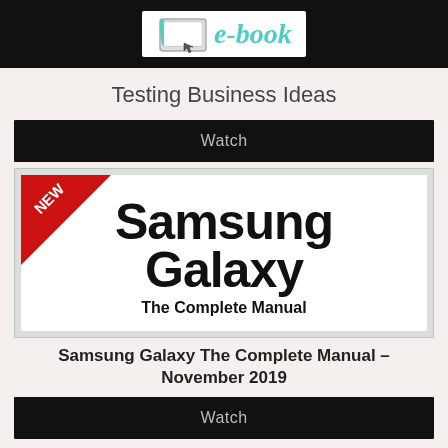e-book
Testing Business Ideas
Watch
[Figure (illustration): Book cover for Samsung Galaxy The Complete Manual with a red NEW badge in the top-left corner. Large bold black text reads 'Samsung Galaxy' and below it 'The Complete Manual'.]
Samsung Galaxy The Complete Manual – November 2019
Watch